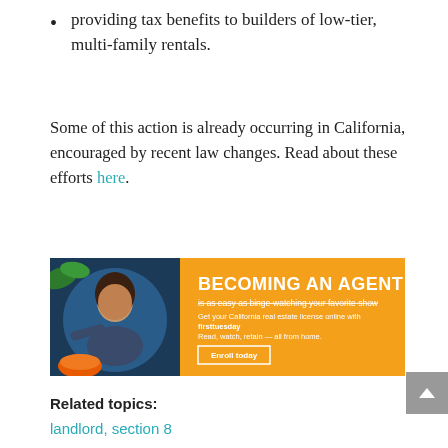providing tax benefits to builders of low-tier, multi-family rentals.
Some of this action is already occurring in California, encouraged by recent law changes. Read about these efforts here.
[Figure (photo): Advertisement banner: 'BECOMING AN AGENT is as easy as binge-watching your favorite show. Get your California real estate license online with firsttuesday. Read, watch, retain — all from home. Enroll today.' Orange background with a woman watching TV.]
Related topics:
landlord, section 8
[Figure (photo): Advertisement banner for firsttuesday: 'Your real estate CE has gone Hollywood. Binge-watch our Video Renewal Course and complete your education in as little as 5 days (popcorn optional).' Dark purple/pink background with silhouetted palm trees.]